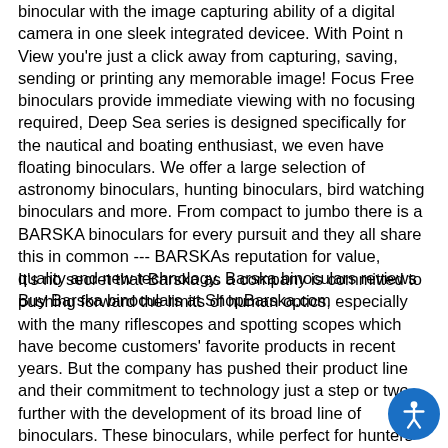binocular with the image capturing ability of a digital camera in one sleek integrated devicee. With Point n View you're just a click away from capturing, saving, sending or printing any memorable image! Focus Free binoculars provide immediate viewing with no focusing required, Deep Sea series is designed specifically for the nautical and boating enthusiast, we even have floating binoculars. We offer a large selection of astronomy binoculars, hunting binoculars, bird watching binoculars and more. From compact to jumbo there is a BARSKA binoculars for every pursuit and they all share this in common --- BARSKAs reputation for value, quality and new technology. Barska binoculars reviews Buy Barska binoculars at ShopBarska.com
It's no secret that Barska as a company is committed to pushing forward the limits of human optics, especially with the many riflescopes and spotting scopes which have become customers' favorite products in recent years. But the company has pushed their product line and their commitment to technology just a step or two further with the development of its broad line of binoculars. These binoculars, while perfect for hunters who need to see